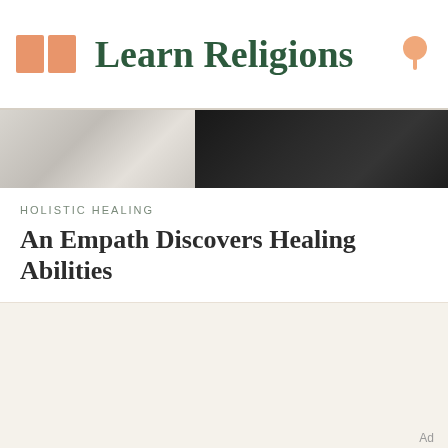Learn Religions
[Figure (photo): Hero image split: left side shows a light grey/white draped fabric or clothing, right side is a dark nearly black background]
HOLISTIC HEALING
An Empath Discovers Healing Abilities
Ad